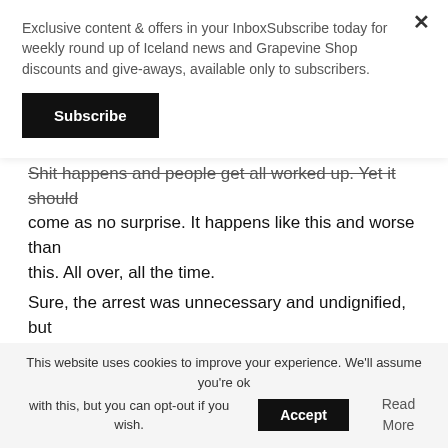Exclusive content & offers in your InboxSubscribe today for weekly round up of Iceland news and Grapevine Shop discounts and give-aways, available only to subscribers.
Subscribe
Shit happens and people get all worked up. Yet it should come as no surprise. It happens like this and worse than this. All over, all the time.
Sure, the arrest was unnecessary and undignified, but what gets me is the amazed and confused pitch of the discussion. The seemingly genuine surprise at the fact that heavy-handed officers sometimes make the law up as they go. In recent years we've learned of mass deportations, surveillance, torture and sexual offences;
This website uses cookies to improve your experience. We'll assume you're ok with this, but you can opt-out if you wish. Accept Read More